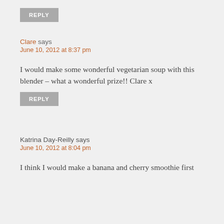REPLY
Clare says
June 10, 2012 at 8:37 pm
I would make some wonderful vegetarian soup with this blender – what a wonderful prize!! Clare x
REPLY
Katrina Day-Reilly says
June 10, 2012 at 8:04 pm
I think I would make a banana and cherry smoothie first